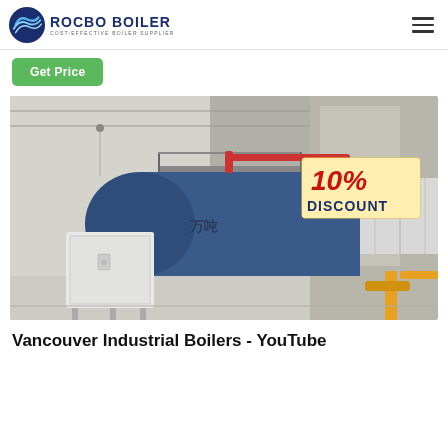ROCBO BOILER - COST-EFFECTIVE BOILER SUPPLIER
[Figure (logo): Rocbo Boiler logo with circular wave icon and text 'ROCBO BOILER / COST-EFFECTIVE BOILER SUPPLIER']
Get Price
[Figure (photo): Industrial boiler in a warehouse facility. A large blue horizontal cylindrical steam boiler is visible with insulated silver pipes. A white electrical control cabinet is in the foreground. Yellow gas pipe fittings visible at right. A '10% DISCOUNT' badge overlaid on the top right of the image.]
Vancouver Industrial Boilers - YouTube